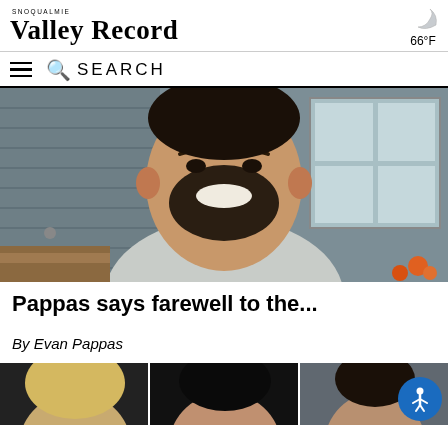SNOQUALMIE VALLEY RECORD
66°F
SEARCH
[Figure (photo): Smiling bearded man in a light gray t-shirt, seated outdoors near a house with gray siding and a window, with orange flowers in the background.]
Pappas says farewell to the...
By Evan Pappas
[Figure (photo): Row of three partial portrait photographs at the bottom of the page showing three different people.]